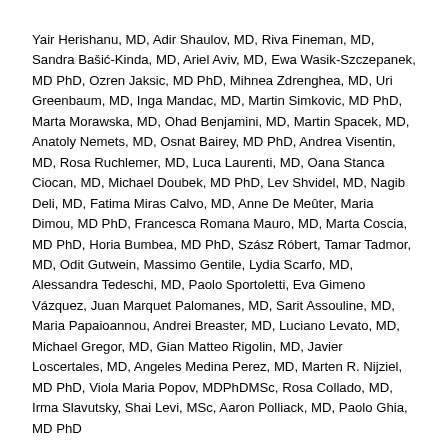Yair Herishanu, MD, Adir Shaulov, MD, Riva Fineman, MD, Sandra Bašić-Kinda, MD, Ariel Aviv, MD, Ewa Wasik-Szczepanek, MD PhD, Ozren Jaksic, MD PhD, Mihnea Zdrenghea, MD, Uri Greenbaum, MD, Inga Mandac, MD, Martin Simkovic, MD PhD, Marta Morawska, MD, Ohad Benjamini, MD, Martin Spacek, MD, Anatoly Nemets, MD, Osnat Bairey, MD PhD, Andrea Visentin, MD, Rosa Ruchlemer, MD, Luca Laurenti, MD, Oana Stanca Ciocan, MD, Michael Doubek, MD PhD, Lev Shvidel, MD, Nagib Deli, MD, Fatima Miras Calvo, MD, Anne De Meûter, Maria Dimou, MD PhD, Francesca Romana Mauro, MD, Marta Coscia, MD PhD, Horia Bumbea, MD PhD, Szász Róbert, Tamar Tadmor, MD, Odit Gutwein, Massimo Gentile, Lydia Scarfo, MD, Alessandra Tedeschi, MD, Paolo Sportoletti, Eva Gimeno Vázquez, Juan Marquet Palomanes, MD, Sarit Assouline, MD, Maria Papaioannou, Andrei Breaster, MD, Luciano Levato, MD, Michael Gregor, MD, Gian Matteo Rigolin, MD, Javier Loscertales, MD, Angeles Medina Perez, MD, Marten R. Nijziel, MD PhD, Viola Maria Popov, MDPhDMSc, Rosa Collado, MD, Irma Slavutsky, Shai Levi, MSc, Aaron Polliack, MD, Paolo Ghia, MD PhD
Journal: Blood
Blood (2019) 134 (Supplement_1): 1766.
DOI: https://doi.org/10.1182/blood-2019-122309
Published: 2019